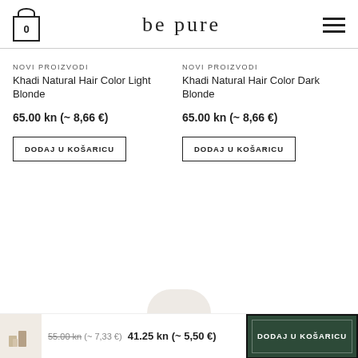be pure
NOVI PROIZVODI
Khadi Natural Hair Color Light Blonde
65.00 kn (~ 8,66 €)
DODAJ U KOŠARICU
NOVI PROIZVODI
Khadi Natural Hair Color Dark Blonde
65.00 kn (~ 8,66 €)
DODAJ U KOŠARICU
55.00 kn (~ 7,33 €)  41.25 kn (~ 5,50 €)  DODAJ U KOŠARICU